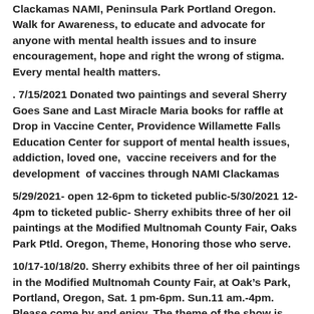Clackamas NAMI, Peninsula Park Portland Oregon. Walk for Awareness, to educate and advocate for anyone with mental health issues and to insure encouragement, hope and right the wrong of stigma. Every mental health matters.
. 7/15/2021 Donated two paintings and several Sherry Goes Sane and Last Miracle Maria books for raffle at Drop in Vaccine Center, Providence Willamette Falls Education Center for support of mental health issues, addiction, loved one,  vaccine receivers and for the development  of vaccines through NAMI Clackamas
5/29/2021- open 12-6pm to ticketed public-5/30/2021 12-4pm to ticketed public- Sherry exhibits three of her oil paintings at the Modified Multnomah County Fair, Oaks Park Ptld. Oregon, Theme, Honoring those who serve.
10/17-10/18/20. Sherry exhibits three of her oil paintings in the Modified Multnomah County Fair, at Oak's Park, Portland, Oregon, Sat. 1 pm-6pm. Sun.11 am.-4pm. Please come by and enjoy. The theme of the show is "Honoring those who serve."
5/30/20 NAMI WALKS NW, National Day of Hope, a virtual event.